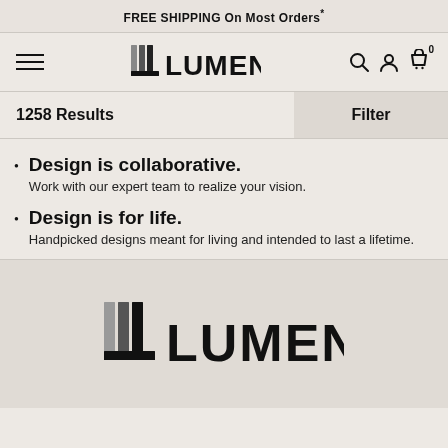FREE SHIPPING On Most Orders*
[Figure (logo): Lumens logo in navigation bar with hamburger menu and icons]
1258 Results
Filter
Design is collaborative.
Work with our expert team to realize your vision.
Design is for life.
Handpicked designs meant for living and intended to last a lifetime.
[Figure (logo): Lumens logo large in footer section]